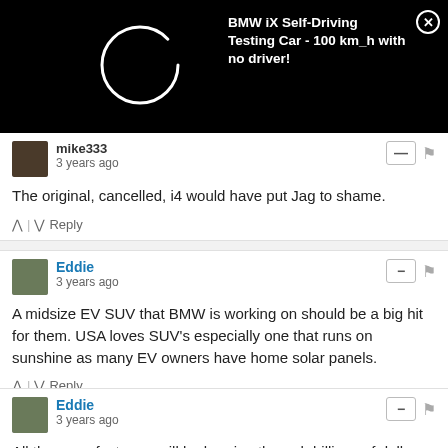[Figure (screenshot): Black video banner with loading spinner circle and BMW iX Self-Driving Testing Car title, with close button]
mike333 3 years ago
The original, cancelled, i4 would have put Jag to shame.
Eddie 3 years ago
A midsize EV SUV that BMW is working on should be a big hit for them. USA loves SUV's especially one that runs on sunshine as many EV owners have home solar panels.
Eddie 3 years ago
All the manufacturers will be burning through billions of dollars changing to EV infrastructure. Many mergers and probable bankruptcies, like GM, Big 3 making all these muscle cars like in